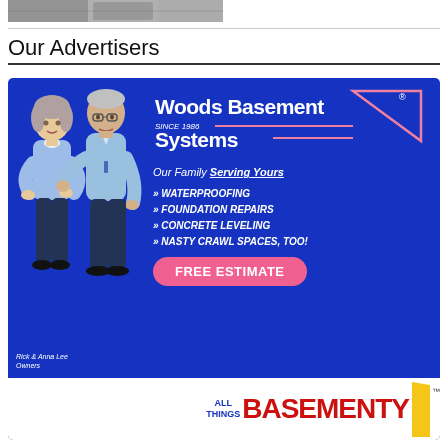[Figure (photo): Partial top image, cropped, appears to be a mechanical/industrial item]
Our Advertisers
[Figure (illustration): Advertisement for Woods Basement Systems featuring cartoon illustration of Rick & Anna Lee (Owners), services listed: Waterproofing, Foundation Repairs, Concrete Leveling, Nasty Crawl Spaces Too!, Free Estimate button, and All Things Basementy logo at bottom]